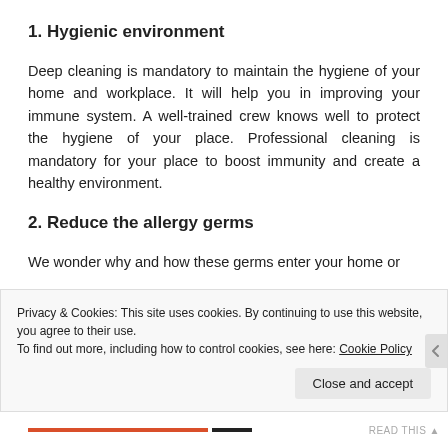1. Hygienic environment
Deep cleaning is mandatory to maintain the hygiene of your home and workplace. It will help you in improving your immune system. A well-trained crew knows well to protect the hygiene of your place. Professional cleaning is mandatory for your place to boost immunity and create a healthy environment.
2. Reduce the allergy germs
We wonder why and how these germs enter your home or
Privacy & Cookies: This site uses cookies. By continuing to use this website, you agree to their use.
To find out more, including how to control cookies, see here: Cookie Policy
Close and accept